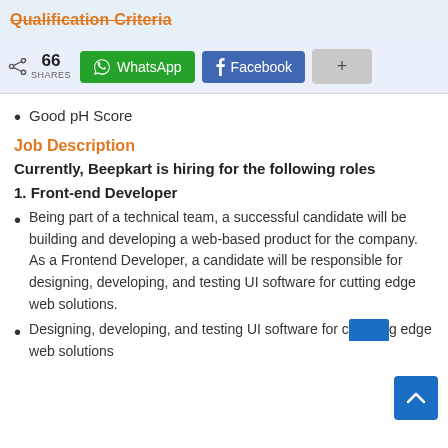Qualification Criteria
[Figure (infographic): Share bar with 66 SHARES, WhatsApp button, Facebook button, and plus button]
Good pH Score
Job Description
Currently, Beepkart is hiring for the following roles
1. Front-end Developer
Being part of a technical team, a successful candidate will be building and developing a web-based product for the company. As a Frontend Developer, a candidate will be responsible for designing, developing, and testing UI software for cutting edge web solutions.
Designing, developing, and testing UI software for cutting edge web solutions